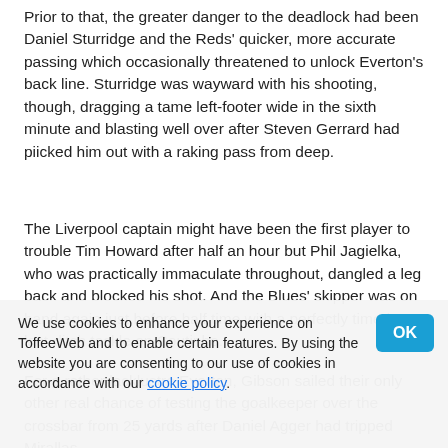Prior to that, the greater danger to the deadlock had been Daniel Sturridge and the Reds' quicker, more accurate passing which occasionally threatened to unlock Everton's back line. Sturridge was wayward with his shooting, though, dragging a tame left-footer wide in the sixth minute and blasting well over after Steven Gerrard had piicked him out with a raking pass from deep.
The Liverpool captain might have been the first player to trouble Tim Howard after half an hour but Phil Jagielka, who was practically immaculate throughout, dangled a leg back and blocked his shot. And the Blues' skipper was on hand again just before half time with a perfectly timed, last-ditch tackle on Coutinho.
For a rather lacklustre Everton, Gibson sailed their only other real chance of testing the goalkeeper over the crossbar from 25 yards after Daniel Agger had tripped Mirallas.
If Ma... ...s derby against a fairly toothless Liverpool,
We use cookies to enhance your experience on ToffeeWeb and to enable certain features. By using the website you are consenting to our use of cookies in accordance with our cookie policy.